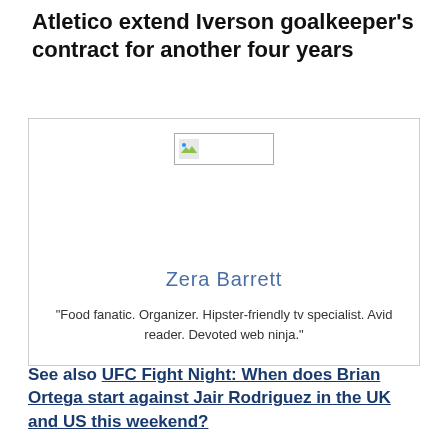Atletico extend Iverson goalkeeper's contract for another four years
[Figure (photo): Author profile card for Zera Barrett with placeholder image thumbnail, author name in blue, and bio text]
See also  UFC Fight Night: When does Brian Ortega start against Jair Rodriguez in the UK and US this weekend?